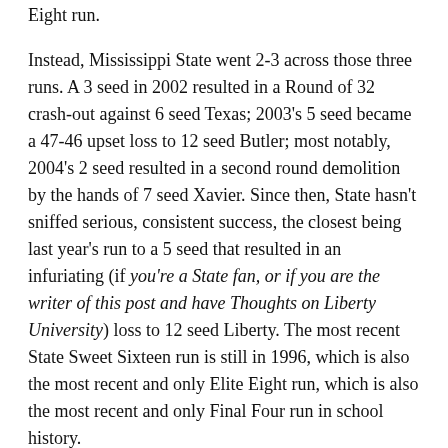Eight run.
Instead, Mississippi State went 2-3 across those three runs. A 3 seed in 2002 resulted in a Round of 32 crash-out against 6 seed Texas; 2003's 5 seed became a 47-46 upset loss to 12 seed Butler; most notably, 2004's 2 seed resulted in a second round demolition by the hands of 7 seed Xavier. Since then, State hasn't sniffed serious, consistent success, the closest being last year's run to a 5 seed that resulted in an infuriating (if you're a State fan, or if you are the writer of this post and have Thoughts on Liberty University) loss to 12 seed Liberty. The most recent State Sweet Sixteen run is still in 1996, which is also the most recent and only Elite Eight run, which is also the most recent and only Final Four run in school history.
Seriously: Mississippi State, once upon a time, made a Final Four as a 5 seed. They had to beat the 1 and 2